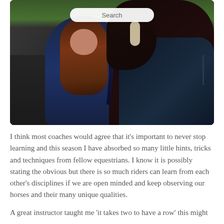[Figure (photo): A young woman with long auburn hair wearing a navy quilted jacket stands next to a dark brown horse wearing a blanket and bridle. They are standing on dark muddy ground with green foliage visible in the background. A white search bar overlay is visible near the top of the image.]
I think most coaches would agree that it's important to never stop learning and this season I have absorbed so many little hints, tricks and techniques from fellow equestrians. I know it is possibly stating the obvious but there is so much riders can learn from each other's disciplines if we are open minded and keep observing our horses and their many unique qualities.
A great instructor taught me 'it takes two to have a row' this might